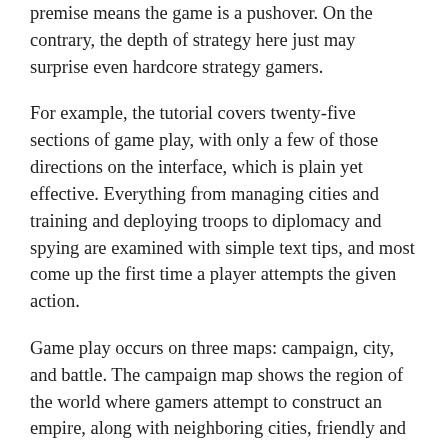premise means the game is a pushover. On the contrary, the depth of strategy here just may surprise even hardcore strategy gamers.
For example, the tutorial covers twenty-five sections of game play, with only a few of those directions on the interface, which is plain yet effective. Everything from managing cities and training and deploying troops to diplomacy and spying are examined with simple text tips, and most come up the first time a player attempts the given action.
Game play occurs on three maps: campaign, city, and battle. The campaign map shows the region of the world where gamers attempt to construct an empire, along with neighboring cities, friendly and hostile,